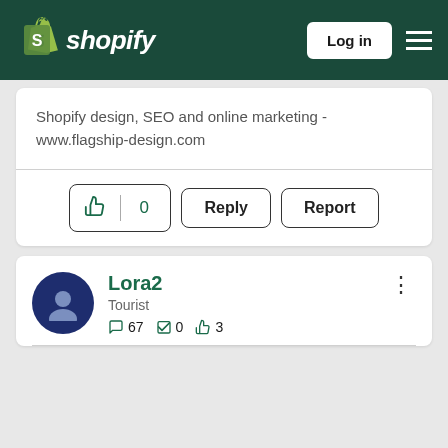Shopify Log in
Shopify design, SEO and online marketing - www.flagship-design.com
Like 0  Reply  Report
Lora2
Tourist
67  0  3